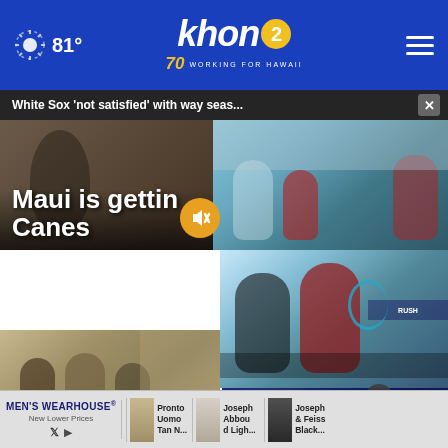khon2 - Working for Hawaii - 81° weather
White Sox 'not satisfied' with way seas...
[Figure (screenshot): News website screenshot showing KHON2 Hawaii news page with weather (81°), logo, hamburger menu, top story about Maui getting Raising Canes, baseball video overlay, community volunteers IHS story, woman held at gunpoint story, and Men's Wearhouse advertisement bar]
Maui is getting Raising Canes
Community volunteers spruce up IHS veterans home
Woman held at gunpoint...
MEN'S WEARHOUSE® New Lower Prices
Pronto Uomo Tan N...
Joseph Abboud Ligh...
Joseph & Feiss Black...